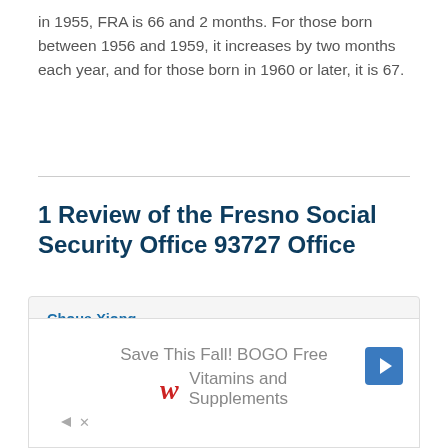in 1955, FRA is 66 and 2 months. For those born between 1956 and 1959, it increases by two months each year, and for those born in 1960 or later, it is 67.
1 Review of the Fresno Social Security Office 93727 Office
Choua Xiong
4 years ago
There was a long line from 8:00-9:00 am, but once we got through it went by very fast.
[Figure (other): Advertisement for Walgreens: Save This Fall! BOGO Free Vitamins and Supplements]